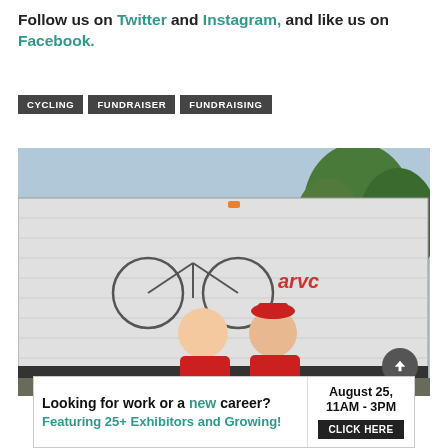Follow us on Twitter and Instagram, and like us on Facebook.
CYCLING
FUNDRAISER
FUNDRAISING
[Figure (photo): Two men in red long-sleeve shirts standing in front of a white camper/RV trailer that has bicycle graphics on it. The RV shows a URL www.dryclandlyersport.org. Green trees are visible in the background. One man holds the handlebars of a bicycle.]
Looking for work or a new career? Featuring 25+ Exhibitors and Growing! August 25, 11AM - 3PM CLICK HERE